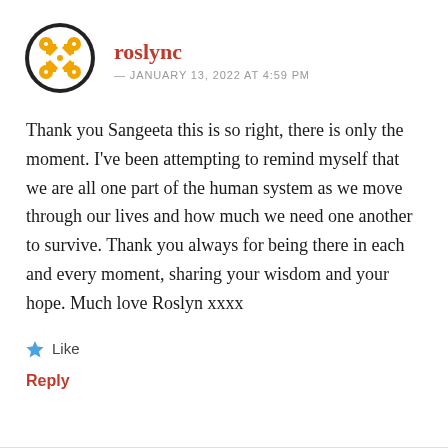[Figure (illustration): Circular avatar icon with orange and white decorative quilt/tile pattern and black border]
roslync
— JANUARY 13, 2022 AT 4:59 PM
Thank you Sangeeta this is so right, there is only the moment. I've been attempting to remind myself that we are all one part of the human system as we move through our lives and how much we need one another to survive. Thank you always for being there in each and every moment, sharing your wisdom and your hope. Much love Roslyn xxxx
Like
Reply